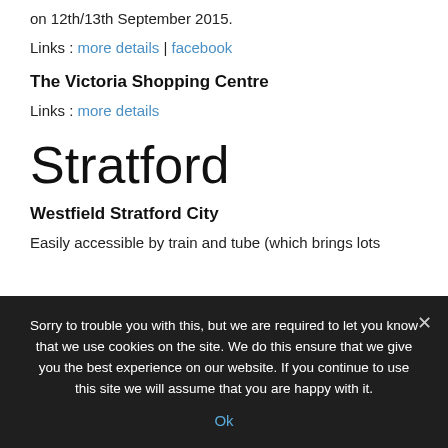on 12th/13th September 2015.
Links : more details | facebook
The Victoria Shopping Centre
Links : more details
Stratford
Westfield Stratford City
Easily accessible by train and tube (which brings lots
Sorry to trouble you with this, but we are required to let you know that we use cookies on the site. We do this ensure that we give you the best experience on our website. If you continue to use this site we will assume that you are happy with it. Ok